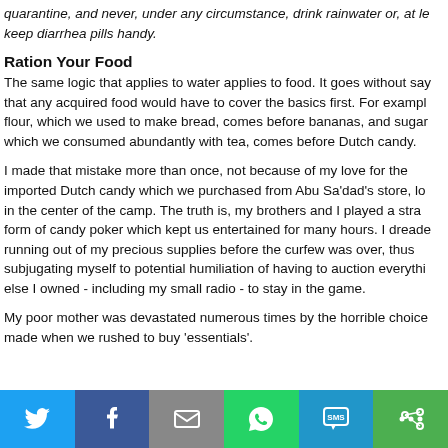quarantine, and never, under any circumstance, drink rainwater or, at least keep diarrhea pills handy.
Ration Your Food
The same logic that applies to water applies to food. It goes without saying that any acquired food would have to cover the basics first. For example, flour, which we used to make bread, comes before bananas, and sugar, which we consumed abundantly with tea, comes before Dutch candy.
I made that mistake more than once, not because of my love for the imported Dutch candy which we purchased from Abu Sa'dad's store, located in the center of the camp. The truth is, my brothers and I played a strange form of candy poker which kept us entertained for many hours. I dreaded running out of my precious supplies before the curfew was over, thus subjugating myself to potential humiliation of having to auction everything else I owned - including my small radio - to stay in the game.
My poor mother was devastated numerous times by the horrible choices I made when we rushed to buy 'essentials'.